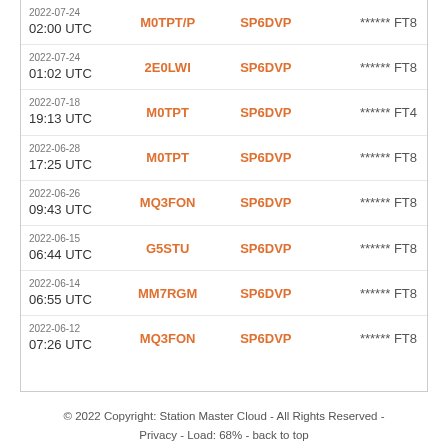| Date/Time | Callsign 1 | Callsign 2 | Report/Mode |
| --- | --- | --- | --- |
| 2022-07-24 02:00 UTC | M0TPT/P | SP6DVP | ****** FT8 |
| 2022-07-24 01:02 UTC | 2E0LWI | SP6DVP | ****** FT8 |
| 2022-07-18 19:13 UTC | M0TPT | SP6DVP | ****** FT4 |
| 2022-06-28 17:25 UTC | M0TPT | SP6DVP | ****** FT8 |
| 2022-06-26 09:43 UTC | MQ3FON | SP6DVP | ****** FT8 |
| 2022-06-15 06:44 UTC | G5STU | SP6DVP | ****** FT8 |
| 2022-06-14 06:55 UTC | MM7RGM | SP6DVP | ****** FT8 |
| 2022-06-12 07:26 UTC | MQ3FON | SP6DVP | ****** FT8 |
© 2022 Copyright: Station Master Cloud - All Rights Reserved - Privacy - Load: 68% - back to top